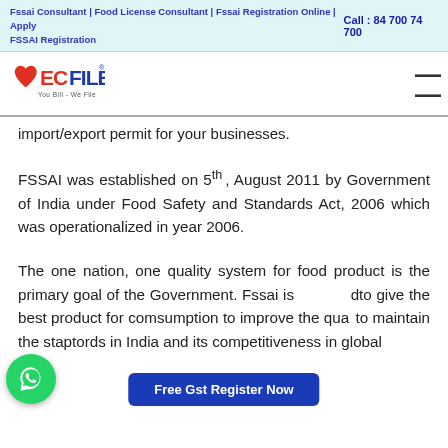Fssai Consultant | Food License Consultant | Fssai Registration Online | Apply FSSAI Registration
Call : 84 700 74 700
[Figure (logo): EcFile logo with red heart and text ECFILE You Bill - We File]
import/export permit for your businesses.
FSSAI was established on 5th , August 2011 by Government of India under Food Safety and Standards Act, 2006 which was operationalized in year 2006.
The one nation, one quality system for food product is the primary goal of the Government. Fssai is aimed to give the best product for comsumption to improve the quality to maintain the staptords in India and its competitiveness in global